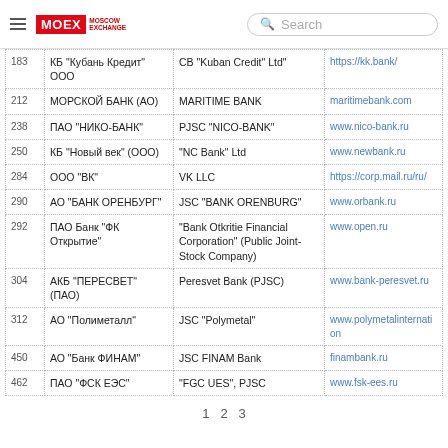MOEX MOSCOW EXCHANGE | Search
| # | Russian Name | English Name | Website |
| --- | --- | --- | --- |
| 183 | КБ "Кубань Кредит" ООО | CB "Kuban Credit" Ltd" | https://kk.bank/ |
| 212 | МОРСКОЙ БАНК (АО) | MARITIME BANK | maritimebank.com |
| 238 | ПАО "НИКО-БАНК" | PJSC "NICO-BANK" | www.nico-bank.ru |
| 250 | КБ "Новый век" (ООО) | "NC Bank" Ltd | www.newbank.ru |
| 284 | ООО "ВК" | VK LLC | https://corp.mail.ru/ru/ |
| 290 | АО "БАНК ОРЕНБУРГ" | JSC "BANK ORENBURG" | www.orbank.ru |
| 292 | ПАО Банк "ФК Открытие" | "Bank Otkritie Financial Corporation" (Public Joint-Stock Company) | www.open.ru |
| 304 | АКБ "ПЕРЕСВЕТ" (ПАО) | Peresvet Bank (PJSC) | www.bank-peresvet.ru |
| 312 | АО "Полиметалл" | JSC "Polymetal" | www.polymetalinternation |
| 450 | АО "Банк ФИНАМ" | JSC FINAM Bank | finambank.ru |
| 462 | ПАО "ФСК ЕЭС" | "FGC UES", PJSC | www.fsk-ees.ru |
1  2  3